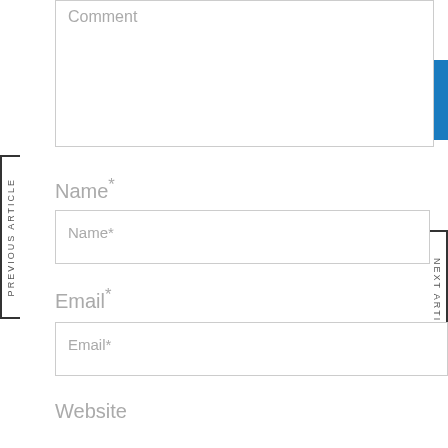Comment
PREVIOUS ARTICLE
NEXT ARTICLE
Name*
Name*
Email*
Email*
Website